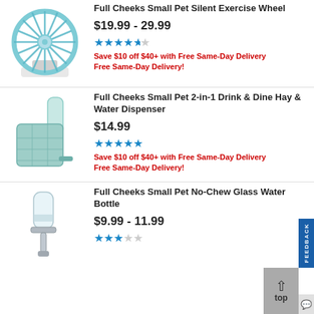[Figure (photo): Full Cheeks Small Pet Silent Exercise Wheel product image - blue wheel on white stand]
Full Cheeks Small Pet Silent Exercise Wheel
$19.99 - 29.99
★★★★★½ star rating
Save $10 off $40+ with Free Same-Day Delivery
Free Same-Day Delivery!
[Figure (photo): Full Cheeks Small Pet 2-in-1 Drink & Dine Hay & Water Dispenser product image - mint green feeder with water bottle]
Full Cheeks Small Pet 2-in-1 Drink & Dine Hay & Water Dispenser
$14.99
★★★★★ star rating
Save $10 off $40+ with Free Same-Day Delivery
Free Same-Day Delivery!
[Figure (photo): Full Cheeks Small Pet No-Chew Glass Water Bottle product image - glass bottle with metal nozzle]
Full Cheeks Small Pet No-Chew Glass Water Bottle
$9.99 - 11.99
★★★ partial star rating